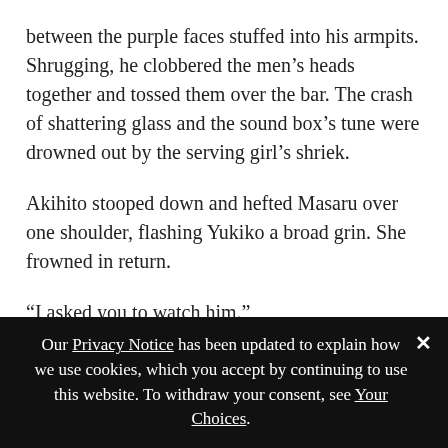between the purple faces stuffed into his armpits. Shrugging, he clobbered the men’s heads together and tossed them over the bar. The crash of shattering glass and the sound box’s tune were drowned out by the serving girl’s shriek.
Akihito stooped down and hefted Masaru over one shoulder, flashing Yukiko a broad grin. She frowned in return.
“I asked you to watch him.”
Though he towered a good foot and a half over the girl, the big man looked slightly abashed. “He’s still in one piece, isn’t he?”
Our Privacy Notice has been updated to explain how we use cookies, which you accept by continuing to use this website. To withdraw your consent, see Your Choices.